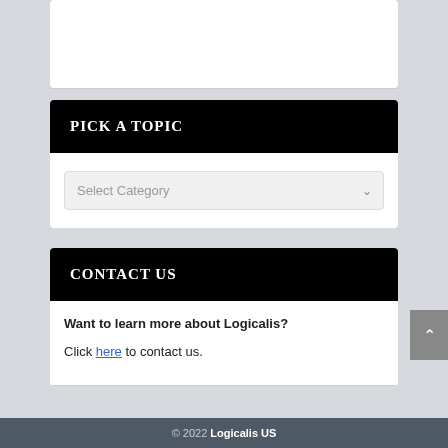PICK A TOPIC
Select Category
CONTACT US
Want to learn more about Logicalis?
Click here to contact us.
© 2022 Logicalis US